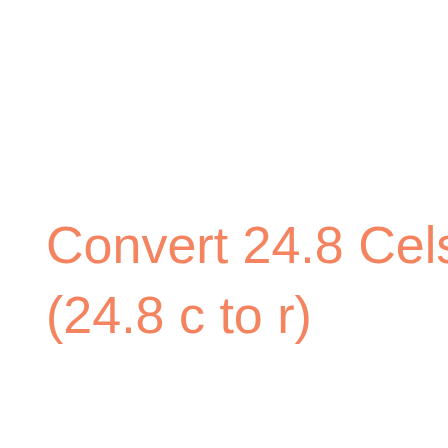Convert 24.8 Celsius to Rankine (24.8 c to r)